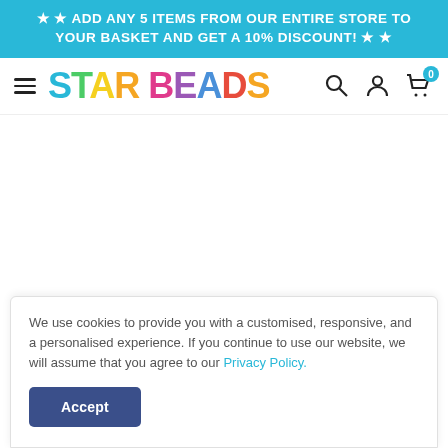★ ★ ADD ANY 5 ITEMS FROM OUR ENTIRE STORE TO YOUR BASKET AND GET A 10% DISCOUNT! ★ ★
[Figure (logo): Star Beads store logo with colorful rainbow letters, hamburger menu, search icon, account icon, and shopping cart with badge showing 0]
We use cookies to provide you with a customised, responsive, and a personalised experience. If you continue to use our website, we will assume that you agree to our Privacy Policy.